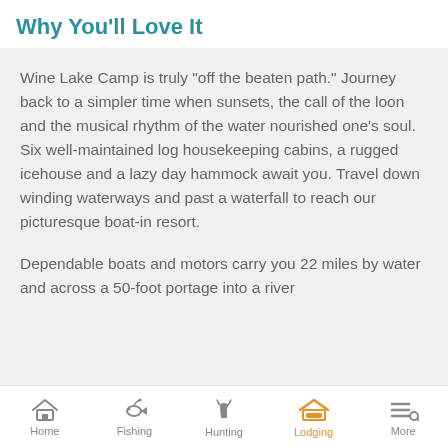Why You'll Love It
Wine Lake Camp is truly "off the beaten path." Journey back to a simpler time when sunsets, the call of the loon and the musical rhythm of the water nourished one's soul. Six well-maintained log housekeeping cabins, a rugged icehouse and a lazy day hammock await you. Travel down winding waterways and past a waterfall to reach our picturesque boat-in resort.
Dependable boats and motors carry you 22 miles by water and across a 50-foot portage into a river
Home  Fishing  Hunting  Lodging  More